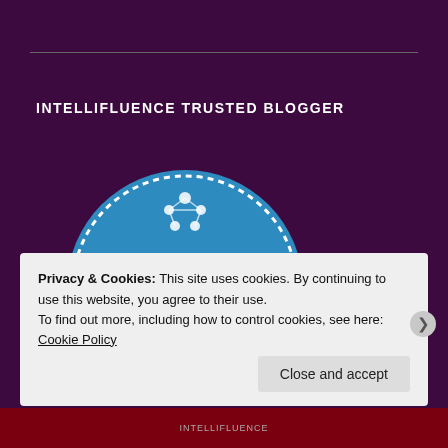INTELLIFLUENCE TRUSTED BLOGGER
[Figure (logo): Intellifluence Trusted Blogger badge — circular blue badge with white dashed border, network/molecule icon at top, 'Intellifluence' in white text, 'Trusted' in gold italic script, yellow ribbon banner with 'BLOGGER' in white bold text, three white stars at bottom]
Privacy & Cookies: This site uses cookies. By continuing to use this website, you agree to their use.
To find out more, including how to control cookies, see here: Cookie Policy
Close and accept